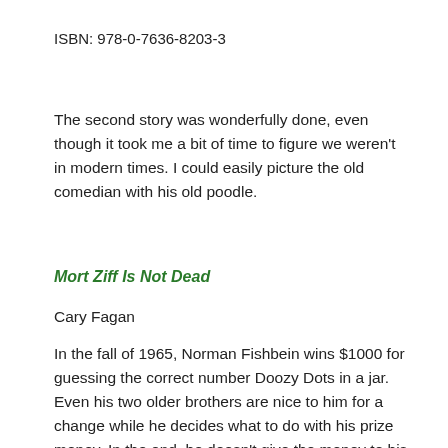ISBN: 978-0-7636-8203-3
The second story was wonderfully done, even though it took me a bit of time to figure we weren't in modern times. I could easily picture the old comedian with his old poodle.
Mort Ziff Is Not Dead
Cary Fagan
In the fall of 1965, Norman Fishbein wins $1000 for guessing the correct number Doozy Dots in a jar. Even his two older brothers are nice to him for a change while he decides what to do with his prize money. In the end, he doesn't give the money to his folks to